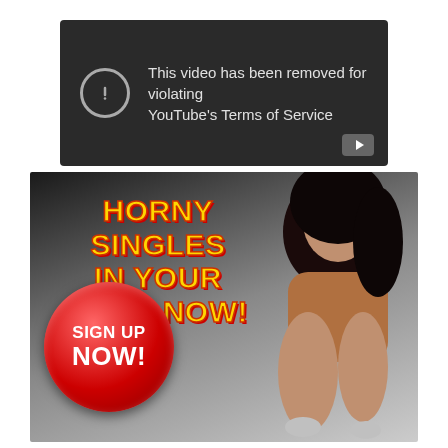[Figure (screenshot): YouTube video error message on dark background: 'This video has been removed for violating YouTube's Terms of Service' with a warning circle icon and YouTube logo button.]
[Figure (infographic): Adult dating advertisement banner with text 'HORNY SINGLES IN YOUR AREA NOW!' in yellow/red, a red circular 'SIGN UP NOW!' button, and a woman posing on the right side.]